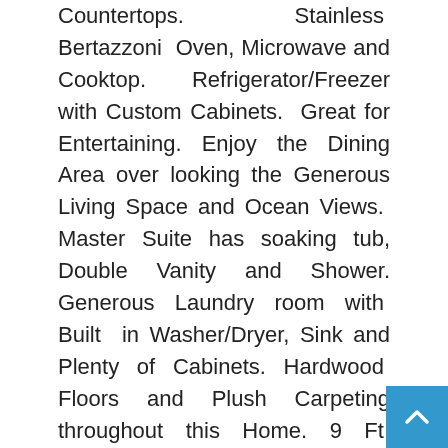Countertops. Stainless Bertazzoni Oven, Microwave and Cooktop. Refrigerator/Freezer with Custom Cabinets. Great for Entertaining. Enjoy the Dining Area over looking the Generous Living Space and Ocean Views. Master Suite has soaking tub, Double Vanity and Shower. Generous Laundry room with Built in Washer/Dryer, Sink and Plenty of Cabinets. Hardwood Floors and Plush Carpeting throughout this Home. 9 Ft. Ceilings Throughout. Pre Wired for Smart Home Technology, including Surround Sound, Speakers, Etc. Awesome 400 Sq. Ft. Rooftop Deck. Low Maintenance Yard, Sprinklers and New Fencing. Walk to Pines P... and ALL that Dana Point has to offer. Enjoy...